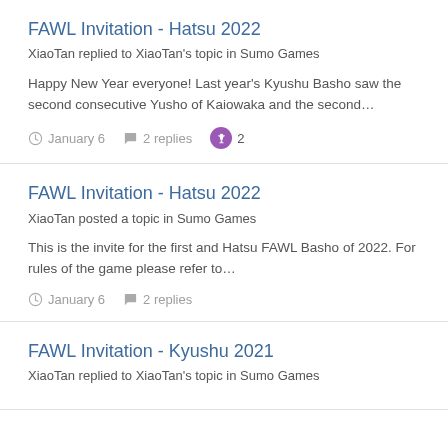FAWL Invitation - Hatsu 2022
XiaoTan replied to XiaoTan's topic in Sumo Games
Happy New Year everyone! Last year's Kyushu Basho saw the second consecutive Yusho of Kaiowaka and the second...
January 6   2 replies   2
FAWL Invitation - Hatsu 2022
XiaoTan posted a topic in Sumo Games
This is the invite for the first and Hatsu FAWL Basho of 2022. For rules of the game please refer to...
January 6   2 replies
FAWL Invitation - Kyushu 2021
XiaoTan replied to XiaoTan's topic in Sumo Games